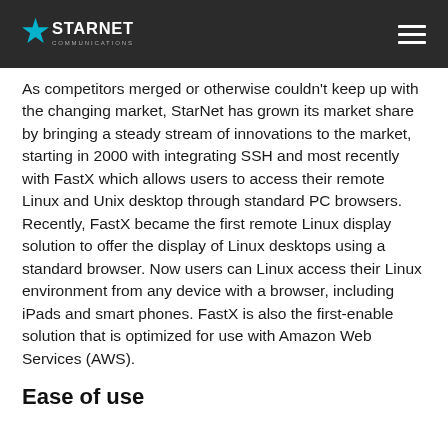StarNet Communications
As competitors merged or otherwise couldn't keep up with the changing market, StarNet has grown its market share by bringing a steady stream of innovations to the market, starting in 2000 with integrating SSH and most recently with FastX which allows users to access their remote Linux and Unix desktop through standard PC browsers. Recently, FastX became the first remote Linux display solution to offer the display of Linux desktops using a standard browser. Now users can Linux access their Linux environment from any device with a browser, including iPads and smart phones. FastX is also the first-enable solution that is optimized for use with Amazon Web Services (AWS).
Ease of use